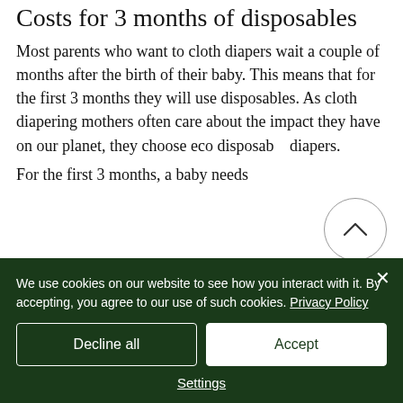Costs for 3 months of disposables
Most parents who want to cloth diapers wait a couple of months after the birth of their baby. This means that for the first 3 months they will use disposables. As cloth diapering mothers often care about the impact they have on our planet, they choose eco disposable diapers.
For the first 3 months, a baby needs
We use cookies on our website to see how you interact with it. By accepting, you agree to our use of such cookies. Privacy Policy
Decline all
Accept
Settings